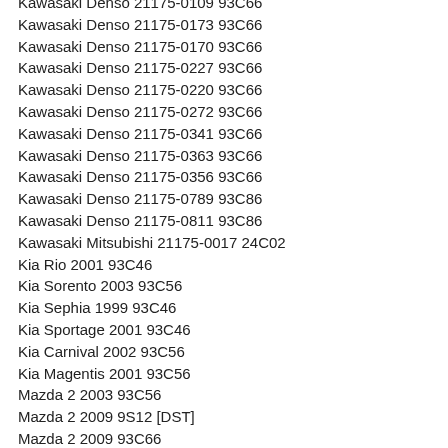Kawasaki Denso 21175-0109 93C66
Kawasaki Denso 21175-0173 93C66
Kawasaki Denso 21175-0170 93C66
Kawasaki Denso 21175-0227 93C66
Kawasaki Denso 21175-0220 93C66
Kawasaki Denso 21175-0272 93C66
Kawasaki Denso 21175-0341 93C66
Kawasaki Denso 21175-0363 93C66
Kawasaki Denso 21175-0356 93C66
Kawasaki Denso 21175-0789 93C86
Kawasaki Denso 21175-0811 93C86
Kawasaki Mitsubishi 21175-0017 24C02
Kia Rio 2001 93C46
Kia Sorento 2003 93C56
Kia Sephia 1999 93C46
Kia Sportage 2001 93C46
Kia Carnival 2002 93C56
Kia Magentis 2001 93C56
Mazda 2 2003 93C56
Mazda 2 2009 9S12 [DST]
Mazda 2 2009 93C66
Mazda 3 Dashboard 93C56
Mazda 3 Dashboard 93C66